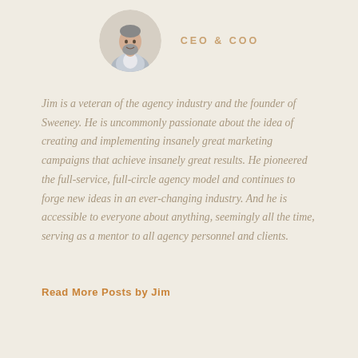[Figure (photo): Circular headshot of a middle-aged man in a grey suit with grey beard, smiling slightly, on a light background.]
CEO & COO
Jim is a veteran of the agency industry and the founder of Sweeney. He is uncommonly passionate about the idea of creating and implementing insanely great marketing campaigns that achieve insanely great results. He pioneered the full-service, full-circle agency model and continues to forge new ideas in an ever-changing industry. And he is accessible to everyone about anything, seemingly all the time, serving as a mentor to all agency personnel and clients.
Read More Posts by Jim